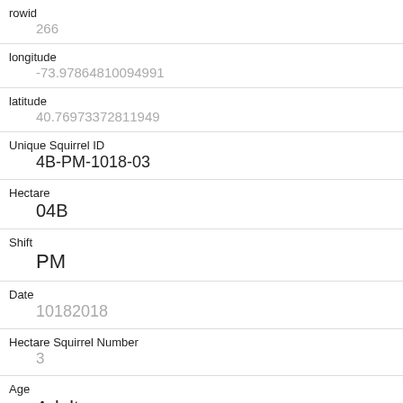| Field | Value |
| --- | --- |
| rowid | 266 |
| longitude | -73.97864810094991 |
| latitude | 40.76973372811949 |
| Unique Squirrel ID | 4B-PM-1018-03 |
| Hectare | 04B |
| Shift | PM |
| Date | 10182018 |
| Hectare Squirrel Number | 3 |
| Age | Adult |
| Primary Fur Color | Gray |
| Highlight Fur Color |  |